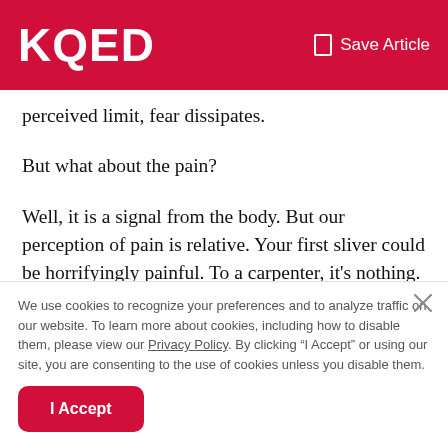KQED | Save Article
perceived limit, fear dissipates.
But what about the pain?
Well, it is a signal from the body. But our perception of pain is relative. Your first sliver could be horrifyingly painful. To a carpenter, it's nothing. If you've never done a forward bend, it can feel like torture. To an athlete or yogi, it's natural and enjoyable.
We use cookies to recognize your preferences and to analyze traffic on our website. To learn more about cookies, including how to disable them, please view our Privacy Policy. By clicking “I Accept” or using our site, you are consenting to the use of cookies unless you disable them.
I Accept